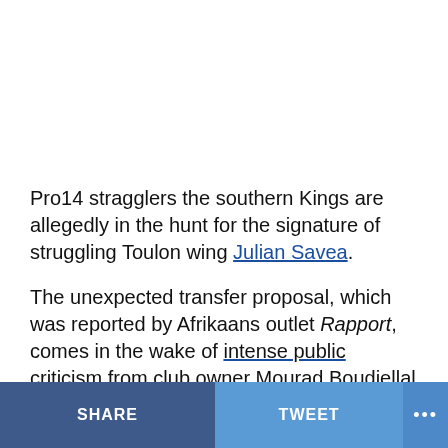Pro14 stragglers the southern Kings are allegedly in the hunt for the signature of struggling Toulon wing Julian Savea.
The unexpected transfer proposal, which was reported by Afrikaans outlet Rapport, comes in the wake of intense public criticism from club owner Mourad Boudjellal and Toulon fans, after the ex-All Black failed to live up to their expectations.
SHARE   TWEET   ...